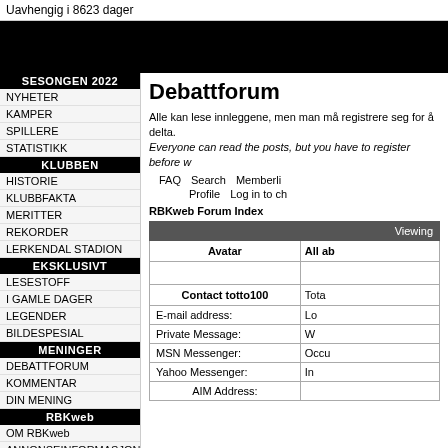Uavhengig i 8623 dager
[Figure (other): Black banner/header image area]
SESONGEN 2022
NYHETER
KAMPER
SPILLERE
STATISTIKK
KLUBBEN
HISTORIE
KLUBBFAKTA
MERITTER
REKORDER
LERKENDAL STADION
EKSKLUSIVT
LESESTOFF
I GAMLE DAGER
LEGENDER
BILDESPESIAL
MENINGER
DEBATTFORUM
KOMMENTAR
DIN MENING
RBKweb
OM RBKweb
ANNONSEINFORMASJON
RSS-KANAL
Debattforum
Alle kan lese innleggene, men man må registrere seg for å delta. Everyone can read the posts, but you have to register before w...
FAQ  Search  Memberli...  Profile  Log in to ch...
RBKweb Forum Index
| Avatar | All ab... | Viewing... |
| --- | --- | --- |
| Contact totto100 | Tota... |  |
| E-mail address: | Lo... |  |
| Private Message: | W... |  |
| MSN Messenger: | Occu... |  |
| Yahoo Messenger: | In... |  |
| AIM Address: |  |  |